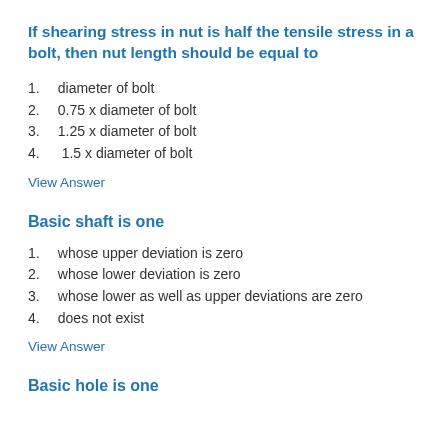If shearing stress in nut is half the tensile stress in a bolt, then nut length should be equal to
1.  diameter of bolt
2.  0.75 x diameter of bolt
3.  1.25 x diameter of bolt
4.  1.5 x diameter of bolt
View Answer
Basic shaft is one
1.  whose upper deviation is zero
2.  whose lower deviation is zero
3.  whose lower as well as upper deviations are zero
4.  does not exist
View Answer
Basic hole is one